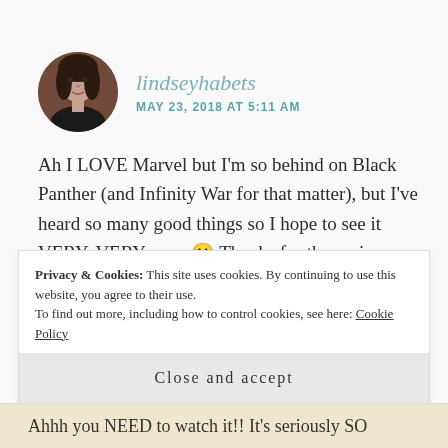[Figure (photo): Circular avatar photo of a woman with dark hair against a brick wall background]
lindseyhabets
MAY 23, 2018 AT 5:11 AM
Ah I LOVE Marvel but I'm so behind on Black Panther (and Infinity War for that matter), but I've heard so many good things so I hope to see it VERY, VERY soon 🙂 Thanks for the review, which made me want to see it even more 😉
★ Liked by 1 person
REPLY
Privacy & Cookies: This site uses cookies. By continuing to use this website, you agree to their use.
To find out more, including how to control cookies, see here: Cookie Policy
Close and accept
Ahhh you NEED to watch it!! It's seriously SO